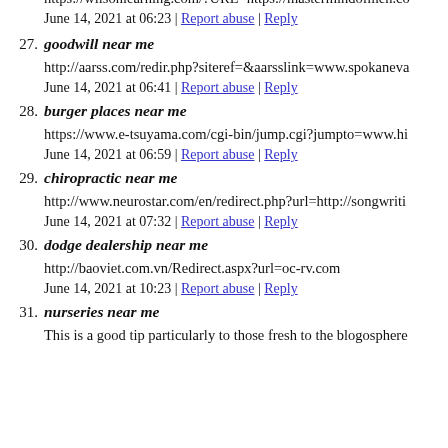https://wilsonlearning.com/?URL=https://mastermindofmen.co
June 14, 2021 at 06:23 | Report abuse | Reply
27. goodwill near me
http://aarss.com/redir.php?siteref=&aarsslink=www.spokaneva
June 14, 2021 at 06:41 | Report abuse | Reply
28. burger places near me
https://www.e-tsuyama.com/cgi-bin/jump.cgi?jumpto=www.hi
June 14, 2021 at 06:59 | Report abuse | Reply
29. chiropractic near me
http://www.neurostar.com/en/redirect.php?url=http://songwriti
June 14, 2021 at 07:32 | Report abuse | Reply
30. dodge dealership near me
http://baoviet.com.vn/Redirect.aspx?url=oc-rv.com
June 14, 2021 at 10:23 | Report abuse | Reply
31. nurseries near me
This is a good tip particularly to those fresh to the blogosphere